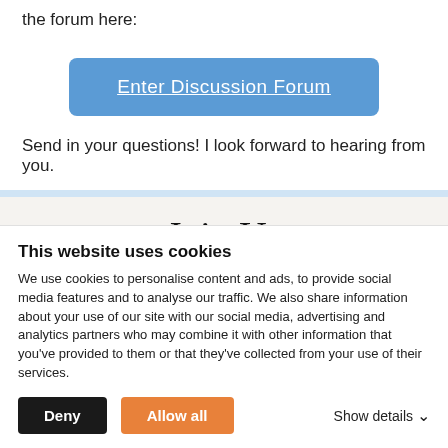the forum here:
[Figure (other): Blue rounded button labeled 'Enter Discussion Forum']
Send in your questions! I look forward to hearing from you.
Join Us
Gain immediate access to all of our current articles, the question-and-
This website uses cookies
We use cookies to personalise content and ads, to provide social media features and to analyse our traffic. We also share information about your use of our site with our social media, advertising and analytics partners who may combine it with other information that you've provided to them or that they've collected from your use of their services.
Deny | Allow all | Show details